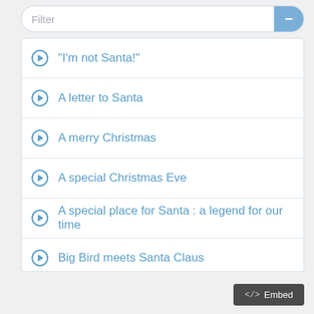"I'm not Santa!"
A letter to Santa
A merry Christmas
A special Christmas Eve
A special place for Santa : a legend for our time
Big Bird meets Santa Claus
Caillou, Joyeux Noël!
Chicken pox winter
Christmas for a kitten